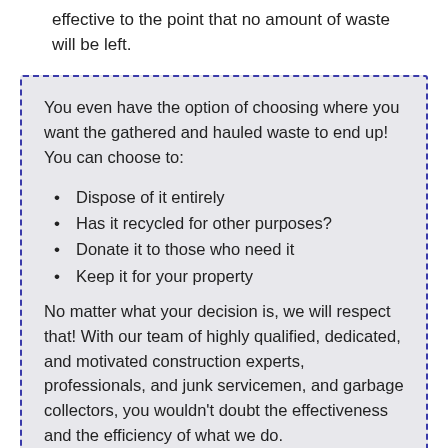Our demolition removal service is extremely beneficial and effective to the point that no amount of waste will be left.
You even have the option of choosing where you want the gathered and hauled waste to end up! You can choose to:
Dispose of it entirely
Has it recycled for other purposes?
Donate it to those who need it
Keep it for your property
No matter what your decision is, we will respect that! With our team of highly qualified, dedicated, and motivated construction experts, professionals, and junk servicemen, and garbage collectors, you wouldn't doubt the effectiveness and the efficiency of what we do.